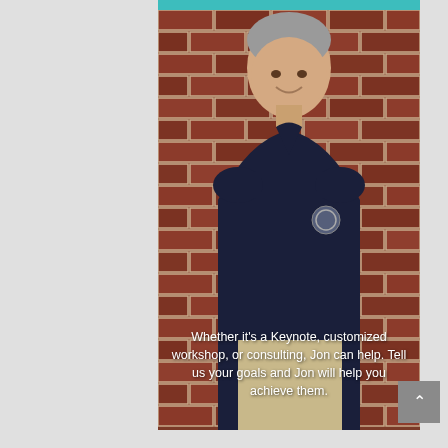[Figure (photo): A middle-aged man with gray hair smiling, wearing a dark navy polo shirt with a logo, standing against a red brick wall. Text overlay reads: 'Whether it's a Keynote, customized workshop, or consulting, Jon can help. Tell us your goals and Jon will help you achieve them.']
Whether it's a Keynote, customized workshop, or consulting, Jon can help. Tell us your goals and Jon will help you achieve them.